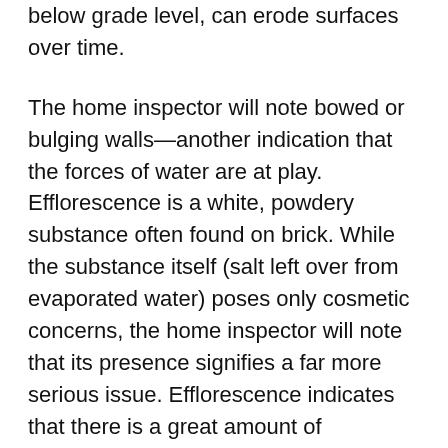below grade level, can erode surfaces over time.
The home inspector will note bowed or bulging walls—another indication that the forces of water are at play. Efflorescence is a white, powdery substance often found on brick. While the substance itself (salt left over from evaporated water) poses only cosmetic concerns, the home inspector will note that its presence signifies a far more serious issue. Efflorescence indicates that there is a great amount of destructive water pressure at work, pushing the efflorescence to the surface and potentially causing the porous brick to spall or break apart over time.